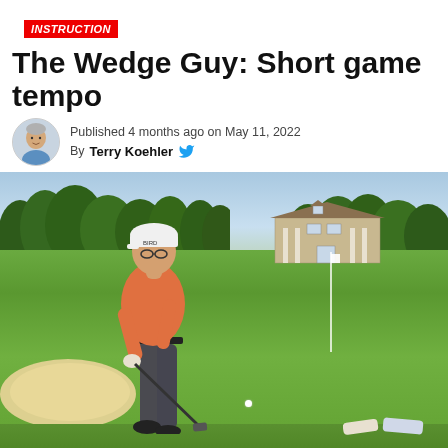INSTRUCTION
The Wedge Guy: Short game tempo
Published 4 months ago on May 11, 2022
By Terry Koehler
[Figure (photo): Golfer in orange shirt hitting a wedge shot near a bunker on a golf course, with a large clubhouse in the background and trees lining the fairway.]